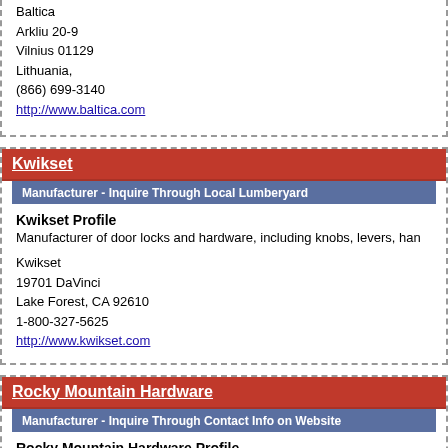Baltica
Arkliu 20-9
Vilnius 01129
Lithuania,
(866) 699-3140
http://www.baltica.com
Kwikset
Manufacturer - Inquire Through Local Lumberyard
Kwikset Profile
Manufacturer of door locks and hardware, including knobs, levers, han
Kwikset
19701 DaVinci
Lake Forest, CA 92610
1-800-327-5625
http://www.kwikset.com
Rocky Mountain Hardware
Manufacturer - Inquire Through Contact Info on Website
Rocky Mountain Hardware Profile
Solid bronze custom and handmade hardware is the specialty of this lo
Rocky Mountain Hardware
P.O. Box 4108